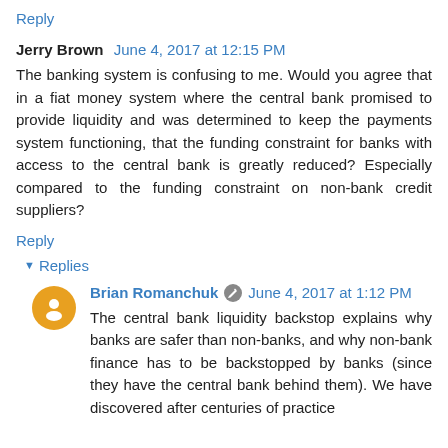Reply
Jerry Brown  June 4, 2017 at 12:15 PM
The banking system is confusing to me. Would you agree that in a fiat money system where the central bank promised to provide liquidity and was determined to keep the payments system functioning, that the funding constraint for banks with access to the central bank is greatly reduced? Especially compared to the funding constraint on non-bank credit suppliers?
Reply
Replies
Brian Romanchuk  June 4, 2017 at 1:12 PM
The central bank liquidity backstop explains why banks are safer than non-banks, and why non-bank finance has to be backstopped by banks (since they have the central bank behind them). We have discovered after centuries of practice